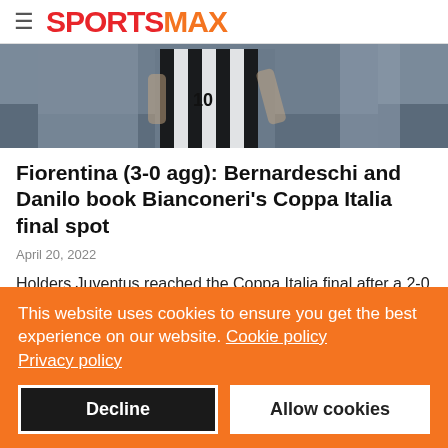SPORTSMAX
[Figure (photo): Soccer player wearing black and white striped Juventus jersey, number 10, in action during a match.]
Fiorentina (3-0 agg): Bernardeschi and Danilo book Bianconeri's Coppa Italia final spot
April 20, 2022
Holders Juventus reached the Coppa Italia final after a 2-0 victory over Fiorentina in their semi-final second leg on Wednesday.
This website uses cookies to ensure you get the best experience on our website. Cookie policy Privacy policy
Decline  Allow cookies